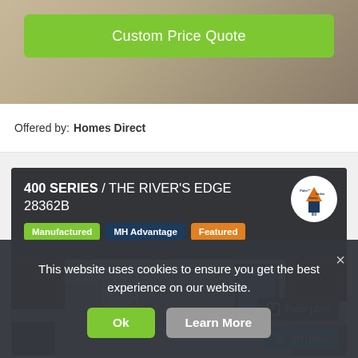[Figure (screenshot): Custom Price Quote button over interior home photo background]
Offered by: Homes Direct
400 SERIES / THE RIVER'S EDGE 28362B
Manufactured | MH Advantage | Featured
[Figure (photo): Interior kitchen photo with dark wood cabinets, white door, and window with Floor plan and 3D Tour buttons overlaid]
This website uses cookies to ensure you get the best experience on our website.